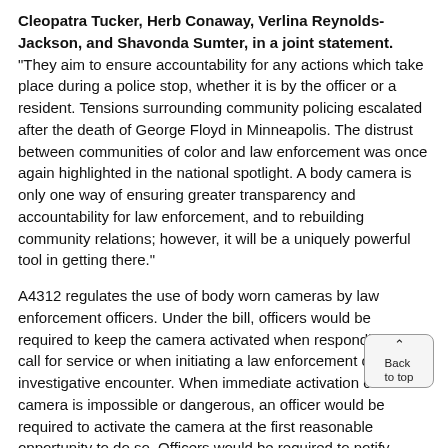Cleopatra Tucker, Herb Conaway, Verlina Reynolds-Jackson, and Shavonda Sumter, in a joint statement. "They aim to ensure accountability for any actions which take place during a police stop, whether it is by the officer or a resident. Tensions surrounding community policing escalated after the death of George Floyd in Minneapolis. The distrust between communities of color and law enforcement was once again highlighted in the national spotlight. A body camera is only one way of ensuring greater transparency and accountability for law enforcement, and to rebuilding community relations; however, it will be a uniquely powerful tool in getting there."
A4312 regulates the use of body worn cameras by law enforcement officers. Under the bill, officers would be required to keep the camera activated when responding to a call for service or when initiating a law enforcement or investigative encounter. When immediate activation of the camera is impossible or dangerous, an officer would be required to activate the camera at the first reasonable opportunity to do so. Officers would be required to notify subjects that the camera is activated and, under certain conditions, may deactivate a camera upon the subject's request. To protect privacy of civilians in sensitive situations, the bill limits use of body worn cameras while officers are on school property, in medical facilities, and in houses of worship